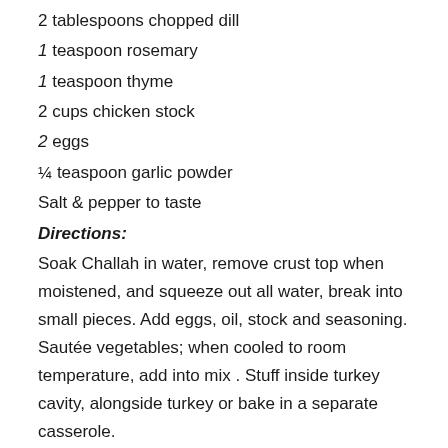2 tablespoons chopped dill
1 teaspoon rosemary
1 teaspoon thyme
2 cups chicken stock
2 eggs
¼ teaspoon garlic powder
Salt & pepper to taste
Directions:
Soak Challah in water, remove crust top when moistened, and squeeze out all water, break into small pieces. Add eggs, oil, stock and seasoning. Sautée vegetables; when cooled to room temperature, add into mix . Stuff inside turkey cavity, alongside turkey or bake in a separate casserole.
Turkey Baste